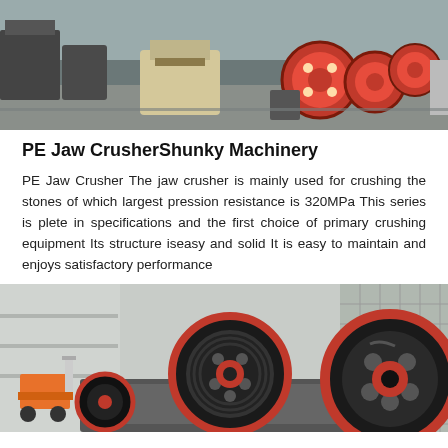[Figure (photo): Wide-angle photograph of a machinery factory floor showing various industrial crushing and milling equipment including red and beige jaw crushers and large flywheels arranged in a warehouse.]
PE Jaw CrusherShunky Machinery
PE Jaw Crusher The jaw crusher is mainly used for crushing the stones of which largest pression resistance is 320MPa This series is plete in specifications and the first choice of primary crushing equipment Its structure iseasy and solid It is easy to maintain and enjoys satisfactory performance
[Figure (photo): Close-up photograph of a large industrial jaw crusher showing a prominent black and red flywheel pulley mechanism in an industrial facility with a forklift visible in the background.]